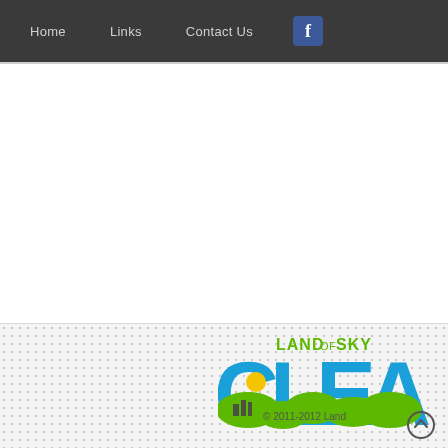Home   Links   Contact Us
[Figure (logo): Land of Sky Clean Air logo — large blue letters spelling CLEA(N) with green landscape and yellow sun graphic, text 'LAND of SKY' above in green]
© 2011-2012 Land...